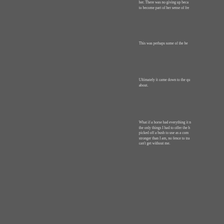her. There was no giving up beca to become part of her sense of fre
This was perhaps some of the be
Ultimately it came down to the qu about.
What if a horse had everything it the only things I had to offer the h picked off a bush to use as a com stronger than I am, no fence to tra can't get without me.